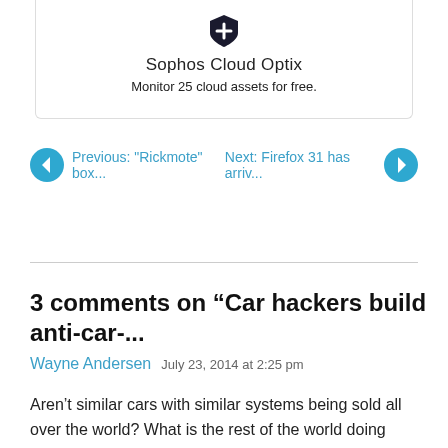[Figure (logo): Sophos Cloud Optix advertisement box with shield icon, title 'Sophos Cloud Optix', and subtitle 'Monitor 25 cloud assets for free.']
Previous: "Rickmote" box...    Next: Firefox 31 has arriv...
3 comments on “Car hackers build anti-car-...
Wayne Andersen   July 23, 2014 at 2:25 pm
Aren’t similar cars with similar systems being sold all over the world? What is the rest of the world doing about this?